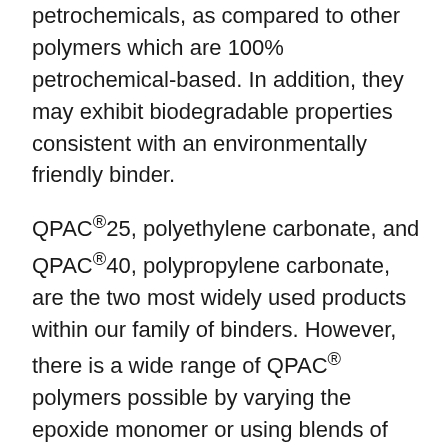petrochemicals, as compared to other polymers which are 100% petrochemical-based. In addition, they may exhibit biodegradable properties consistent with an environmentally friendly binder.
QPAC®25, polyethylene carbonate, and QPAC®40, polypropylene carbonate, are the two most widely used products within our family of binders. However, there is a wide range of QPAC® polymers possible by varying the epoxide monomer or using blends of epoxides to produce a specific reaction. Our technical group has the expertise to effectively work with you to develop the appropriate product for your application.
Production Capabilities of Empower